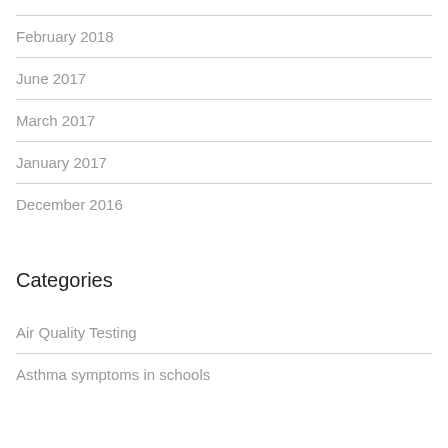February 2018
June 2017
March 2017
January 2017
December 2016
Categories
Air Quality Testing
Asthma symptoms in schools